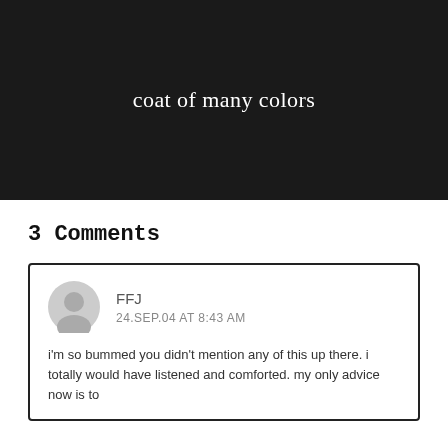[Figure (other): Black banner image with white serif text reading 'coat of many colors' centered on dark background]
3 Comments
FFJ
24.SEP.04 AT 8:43 AM
i'm so bummed you didn't mention any of this up there. i totally would have listened and comforted. my only advice now is to